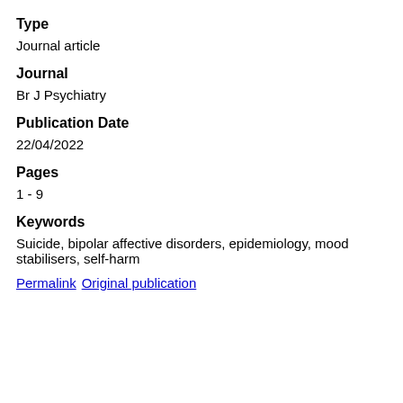Type
Journal article
Journal
Br J Psychiatry
Publication Date
22/04/2022
Pages
1 - 9
Keywords
Suicide, bipolar affective disorders, epidemiology, mood stabilisers, self-harm
Permalink  Original publication